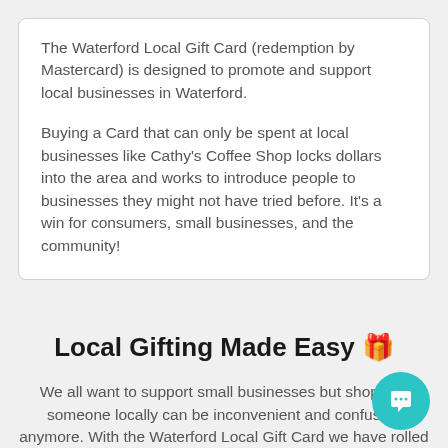The Waterford Local Gift Card (redemption by Mastercard) is designed to promote and support local businesses in Waterford.
Buying a Card that can only be spent at local businesses like Cathy's Coffee Shop locks dollars into the area and works to introduce people to businesses they might not have tried before. It's a win for consumers, small businesses, and the community!
Local Gifting Made Easy 🎁
We all want to support small businesses but shopping someone locally can be inconvenient and confusing anymore. With the Waterford Local Gift Card we have rolled up the power of many gift cards into one convenient